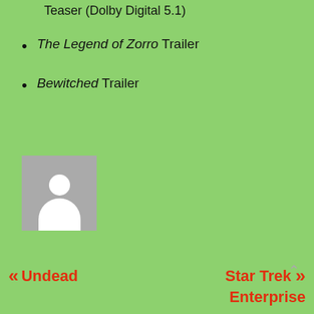Teaser (Dolby Digital 5.1)
The Legend of Zorro Trailer
Bewitched Trailer
[Figure (illustration): Generic user avatar placeholder image — grey square background with white silhouette of a person (head circle and body shape)]
<< Undead    Star Trek Enterprise >>